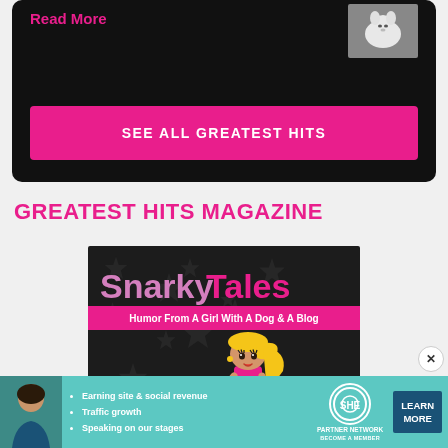Read More
[Figure (photo): Small thumbnail image of a white fluffy dog/puppy]
SEE ALL GREATEST HITS
GREATEST HITS MAGAZINE
[Figure (illustration): Book/magazine cover for 'Snarky Tales - Humor From A Girl With A Dog & A Blog' featuring dark star background and cartoon girl with blonde hair holding a small dog]
[Figure (infographic): SHE Partner Network advertisement banner with woman photo, bullet points: Earning site & social revenue, Traffic growth, Speaking on our stages, SHE Partner Network logo, LEARN MORE button]